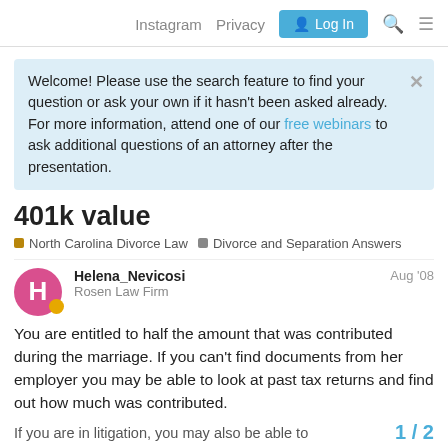Instagram  Privacy  Log In
Welcome! Please use the search feature to find your question or ask your own if it hasn't been asked already. For more information, attend one of our free webinars to ask additional questions of an attorney after the presentation.
401k value
North Carolina Divorce Law   Divorce and Separation Answers
Helena_Nevicosi
Rosen Law Firm
Aug '08
You are entitled to half the amount that was contributed during the marriage. If you can't find documents from her employer you may be able to look at past tax returns and find out how much was contributed.
1 / 2
If you are in litigation, you may also be able to